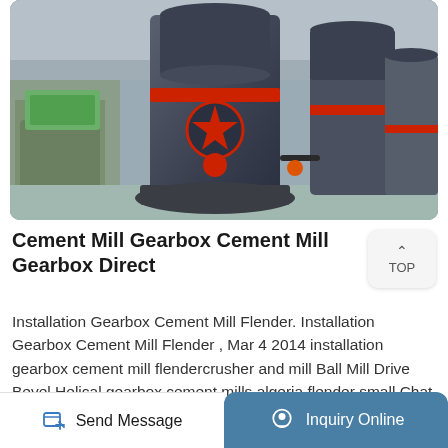[Figure (photo): Industrial cement mill gearbox machines in a warehouse/factory setting. Large dark cylindrical grinding mill machines with red accent bands are visible, arranged in a row on a concrete factory floor.]
Cement Mill Gearbox Cement Mill Gearbox Direct
Installation Gearbox Cement Mill Flender. Installation Gearbox Cement Mill Flender , Mar 4 2014 installation gearbox cement mill flendercrusher and mill Ball Mill Drive Bevel Helical gearbox cement mills algeria flender small Chat With Sal. order code of roller mill gearbox flender
Send Message   Inquiry Online